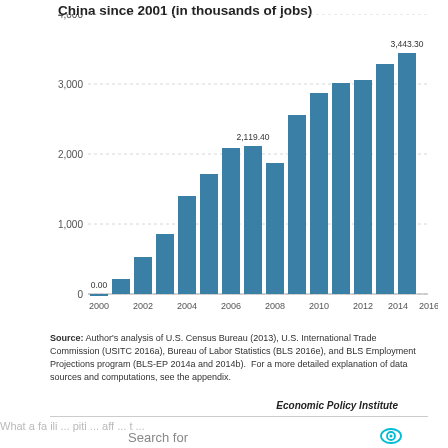China since 2001 (in thousands of jobs)
[Figure (bar-chart): China since 2001 (in thousands of jobs)]
Source: Author's analysis of U.S. Census Bureau (2013), U.S. International Trade Commission (USITC 2016a), Bureau of Labor Statistics (BLS 2016e), and BLS Employment Projections program (BLS-EP 2014a and 2014b). For a more detailed explanation of data sources and computations, see the appendix.
Economic Policy Institute
Search for
NEW ADVOCATE JOBS →
HOUSING ASSISTANCE FOR VETERANS →